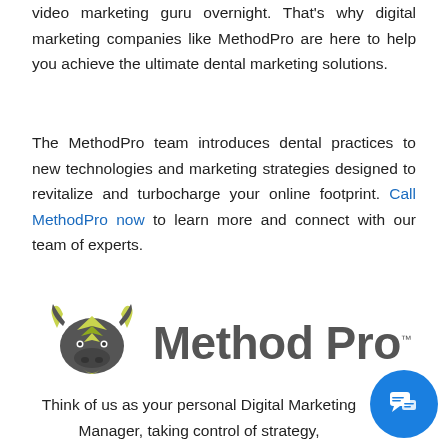video marketing guru overnight. That's why digital marketing companies like MethodPro are here to help you achieve the ultimate dental marketing solutions.
The MethodPro team introduces dental practices to new technologies and marketing strategies designed to revitalize and turbocharge your online footprint. Call MethodPro now to learn more and connect with our team of experts.
[Figure (logo): MethodPro logo with stylized bison icon and 'Method Pro' text in dark gray with trademark symbol]
Think of us as your personal Digital Marketing Manager, taking control of strategy,